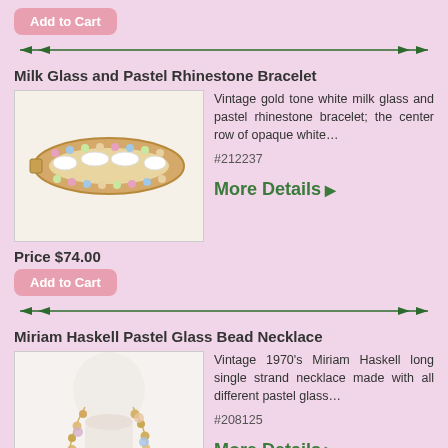Add to Cart
[Figure (photo): Decorative horizontal divider with dark green arrows pointing inward from both sides]
Milk Glass and Pastel Rhinestone Bracelet
[Figure (photo): Vintage gold tone white milk glass and pastel rhinestone bracelet displayed on white background]
Vintage gold tone white milk glass and pastel rhinestone bracelet; the center row of opaque white… #212237
More Details ▶
Price $74.00
Add to Cart
[Figure (photo): Decorative horizontal divider with dark green arrows pointing inward from both sides]
Miriam Haskell Pastel Glass Bead Necklace
[Figure (photo): Vintage 1970s Miriam Haskell long single strand pastel glass bead necklace displayed on white mannequin bust]
Vintage 1970's Miriam Haskell long single strand necklace made with all different pastel glass… #208125
More Details ▶